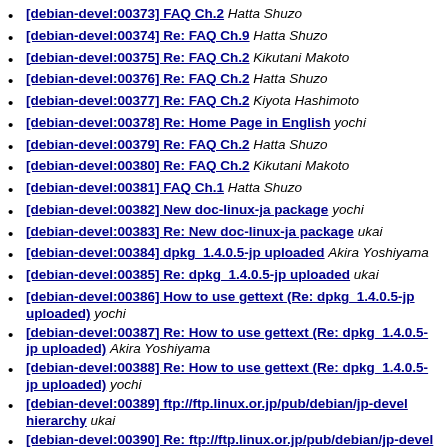[debian-devel:00373] FAQ Ch.2 Hatta Shuzo
[debian-devel:00374] Re: FAQ Ch.9 Hatta Shuzo
[debian-devel:00375] Re: FAQ Ch.2 Kikutani Makoto
[debian-devel:00376] Re: FAQ Ch.2 Hatta Shuzo
[debian-devel:00377] Re: FAQ Ch.2 Kiyota Hashimoto
[debian-devel:00378] Re: Home Page in English yochi
[debian-devel:00379] Re: FAQ Ch.2 Hatta Shuzo
[debian-devel:00380] Re: FAQ Ch.2 Kikutani Makoto
[debian-devel:00381] FAQ Ch.1 Hatta Shuzo
[debian-devel:00382] New doc-linux-ja package yochi
[debian-devel:00383] Re: New doc-linux-ja package ukai
[debian-devel:00384] dpkg_1.4.0.5-jp uploaded Akira Yoshiyama
[debian-devel:00385] Re: dpkg_1.4.0.5-jp uploaded ukai
[debian-devel:00386] How to use gettext (Re: dpkg_1.4.0.5-jp uploaded) yochi
[debian-devel:00387] Re: How to use gettext (Re: dpkg_1.4.0.5-jp uploaded) Akira Yoshiyama
[debian-devel:00388] Re: How to use gettext (Re: dpkg_1.4.0.5-jp uploaded) yochi
[debian-devel:00389] ftp://ftp.linux.or.jp/pub/debian/jp-devel hierarchy ukai
[debian-devel:00390] Re: ftp://ftp.linux.or.jp/pub/debian/jp-devel hierarchy yochi
[debian-devel:00391] Re: